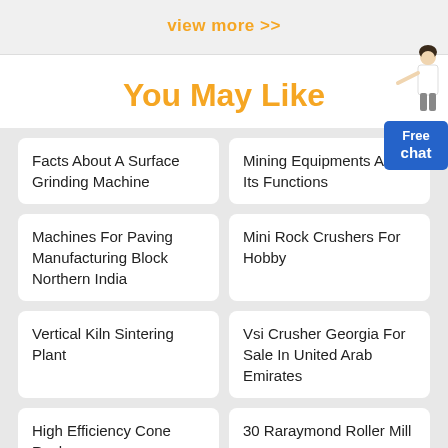view more >>
You May Like
Facts About A Surface Grinding Machine
Mining Equipments And Its Functions
Machines For Paving Manufacturing Block Northern India
Mini Rock Crushers For Hobby
Vertical Kiln Sintering Plant
Vsi Crusher Georgia For Sale In United Arab Emirates
High Efficiency Cone Rock
30 Raraymond Roller Mill